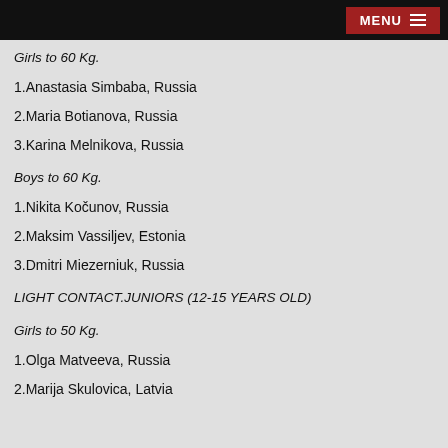MENU
Girls to 60 Kg.
1.Anastasia Simbaba, Russia
2.Maria Botianova, Russia
3.Karina Melnikova, Russia
Boys to 60 Kg.
1.Nikita Kočunov, Russia
2.Maksim Vassiljev, Estonia
3.Dmitri Miezerniuk, Russia
LIGHT CONTACT.JUNIORS (12-15 YEARS OLD)
Girls to 50 Kg.
1.Olga Matveeva, Russia
2.Marija Skulovica, Latvia